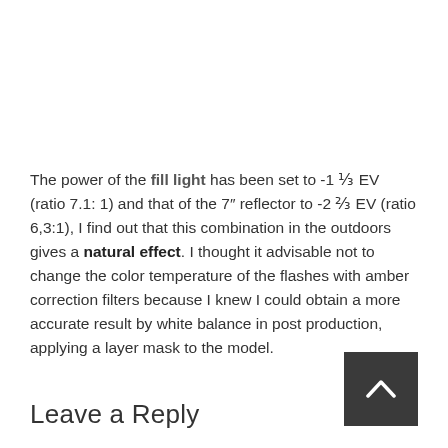The power of the fill light has been set to -1 ⅓ EV (ratio 7.1: 1) and that of the 7″ reflector to -2 ⅔ EV (ratio 6,3:1), I find out that this combination in the outdoors gives a natural effect. I thought it advisable not to change the color temperature of the flashes with amber correction filters because I knew I could obtain a more accurate result by white balance in post production, applying a layer mask to the model.
Leave a Reply